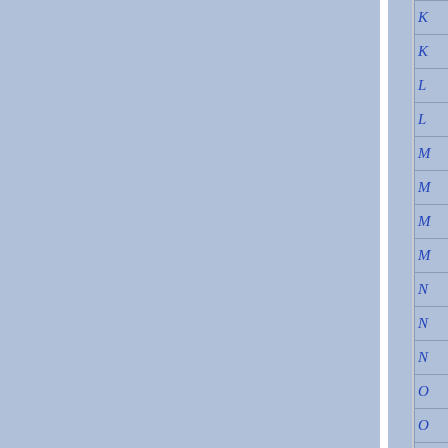[Figure (other): Document index/table of contents page with blue background divided into columns. Left two-thirds show a light blue background with a vertical white divider. Right side shows a narrow column with italic blue letters (K, K, L, L, M, M, M, M, N, N, N, O, O, O, O, O) in a bordered table, partially cut off at the right edge.]
| K |
| K |
| L |
| L |
| M |
| M |
| M |
| M |
| N |
| N |
| N |
| O |
| O |
| O |
| O |
| O |